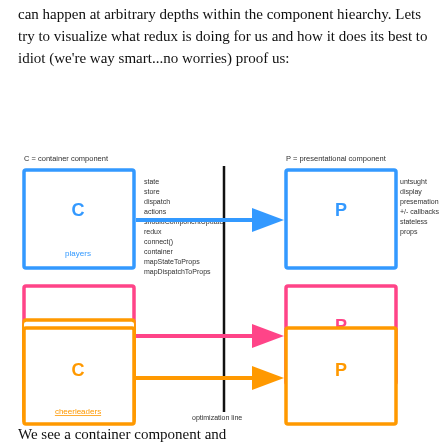can happen at arbitrary depths within the component hiearchy. Lets try to visualize what redux is doing for us and how it does its best to idiot (we're way smart...no worries) proof us:
[Figure (flowchart): Diagram showing container components (C) on the left connected by arrows to presentational components (P) on the right, separated by a vertical 'optimization line'. Three rows: blue (players), pink (coaches), orange (cheerleaders). Left side labeled 'C = container component', right side labeled 'P = presentational component'. Blue C box lists: state, store, dispatch, actions, shouldComponentUpdate, redux, connect(), container, mapStateToProps, mapDispatchToProps. Right side P box lists: unsought, display, presentation, callbacks, stateless, props.]
We see a container component and